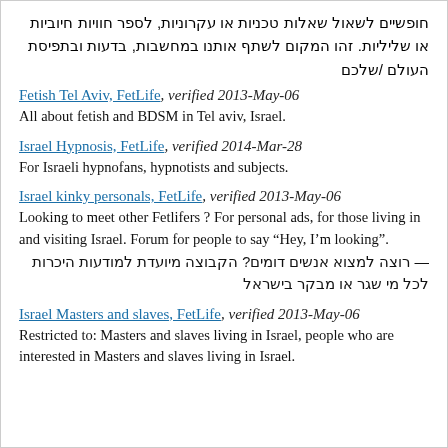חופשיים לשאול שאלות טכניות או עקרוניות, לספר חוויות חיוביות או שליליות. זהו המקום לשתף אותנו במחשבות, בדעות ובתפיסת העולם /שלכם
Fetish Tel Aviv, FetLife, verified 2013-May-06
All about fetish and BDSM in Tel aviv, Israel.
Israel Hypnosis, FetLife, verified 2014-Mar-28
For Israeli hypnofans, hypnotists and subjects.
Israel kinky personals, FetLife, verified 2013-May-06
Looking to meet other Fetlifers ? For personal ads, for those living in and visiting Israel. Forum for people to say “Hey, I’m looking”.
— רוצה למצוא אנשים דומים? הקבוצה מיועדת למודעות היכרות לכל מי שגר או מבקר בישראל
Israel Masters and slaves, FetLife, verified 2013-May-06
Restricted to: Masters and slaves living in Israel, people who are interested in Masters and slaves living in Israel.